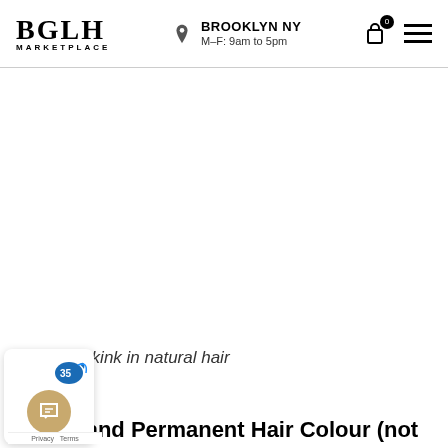BGLH MARKETPLACE | BROOKLYN NY M–F: 9am to 5pm
[Figure (photo): A large white/empty image area showing a product or hair photo (content not visible in this crop)]
An actual kink in natural hair
ached and Permanent Hair Colour (not